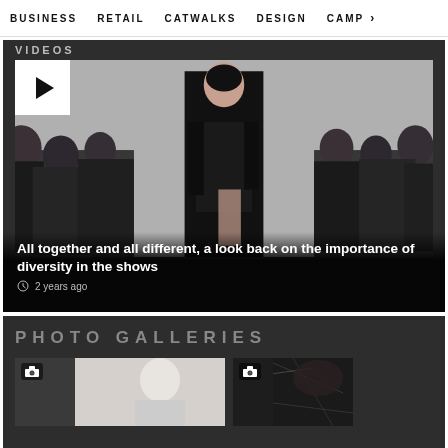BUSINESS   RETAIL   CATWALKS   DESIGN   CAMP >
[Figure (photo): Fashion runway photo showing a model in a black outfit with a large crowd of photographers and spectators on both sides. A play button overlay is visible in the top left corner.]
All together and all different, a look back on the importance of diversity in the shows
2 years ago
PHOTO GALLERIES
[Figure (photo): Photo gallery thumbnail showing a person in light setting]
[Figure (photo): Photo gallery thumbnail showing a dark scene]